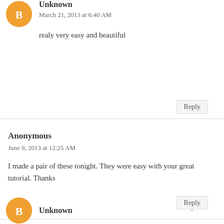[Figure (illustration): Orange circular avatar with blogger 'B' icon]
Unknown
March 21, 2013 at 6:40 AM
realy very easy and beautiful
Reply
Anonymous
June 9, 2013 at 12:25 AM
I made a pair of these tonight. They were easy with your great tutorial. Thanks
Reply
[Figure (illustration): Orange circular avatar with blogger 'B' icon]
Unknown